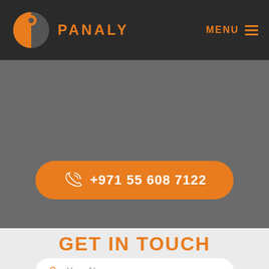PANALY
MENU
+971 55 608 7122
GET IN TOUCH
Your Name
Your Phone